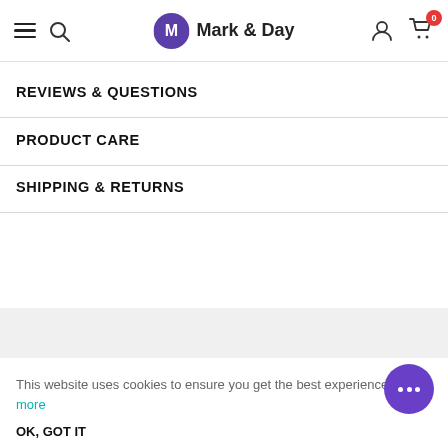Mark & Day
REVIEWS & QUESTIONS
PRODUCT CARE
SHIPPING & RETURNS
Contact Us
This website uses cookies to ensure you get the best experience. Learn more
OK, GOT IT